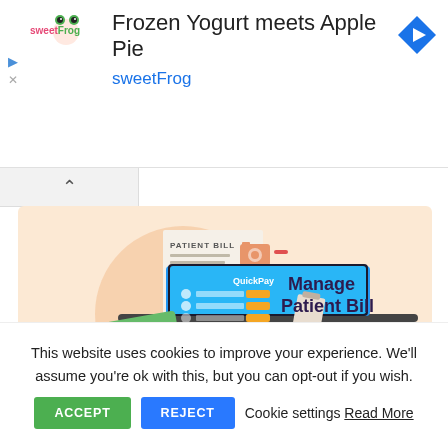[Figure (screenshot): Advertisement banner for sweetFrog featuring text 'Frozen Yogurt meets Apple Pie' with sweetFrog logo and a blue diamond arrow icon]
[Figure (illustration): Marketing illustration showing a laptop with QuickPay interface, patient bill document, cash/money, and text 'Manage Patient Bill (wifi icon) ONLINE' on a peach/salmon background]
This website uses cookies to improve your experience. We'll assume you're ok with this, but you can opt-out if you wish.
ACCEPT   REJECT   Cookie settings Read More